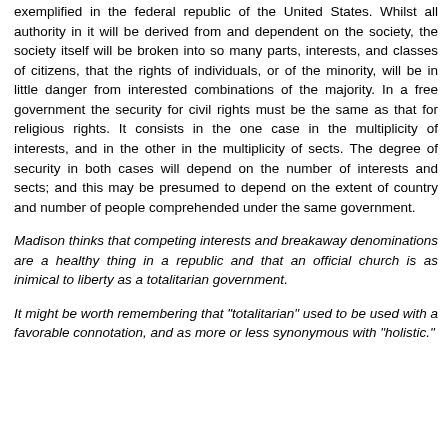exemplified in the federal republic of the United States. Whilst all authority in it will be derived from and dependent on the society, the society itself will be broken into so many parts, interests, and classes of citizens, that the rights of individuals, or of the minority, will be in little danger from interested combinations of the majority. In a free government the security for civil rights must be the same as that for religious rights. It consists in the one case in the multiplicity of interests, and in the other in the multiplicity of sects. The degree of security in both cases will depend on the number of interests and sects; and this may be presumed to depend on the extent of country and number of people comprehended under the same government.
Madison thinks that competing interests and breakaway denominations are a healthy thing in a republic and that an official church is as inimical to liberty as a totalitarian government.
It might be worth remembering that "totalitarian" used to be used with a favorable connotation, and as more or less synonymous with "holistic."